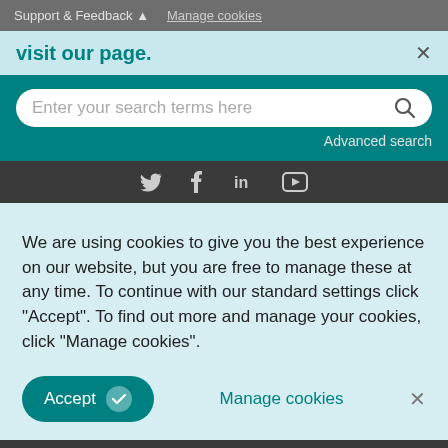Support & Feedback ▲   Manage cookies
visit our page.
Enter your search terms here
Advanced search
[Figure (other): Social media icons: Twitter (bird), Facebook (f), LinkedIn (in), YouTube (play button)]
We are using cookies to give you the best experience on our website, but you are free to manage these at any time. To continue with our standard settings click "Accept". To find out more and manage your cookies, click "Manage cookies".
Accept ✓   Manage cookies   ×
About
About Europa...